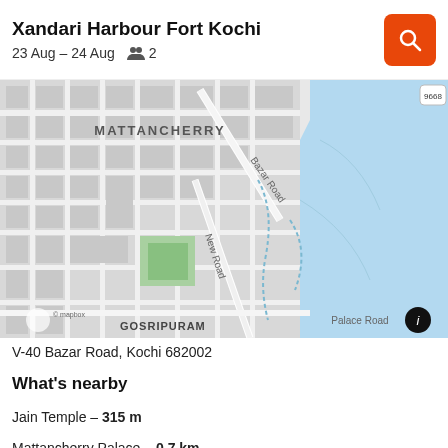Xandari Harbour Fort Kochi
23 Aug – 24 Aug  👥 2
[Figure (map): Street map of Mattancherry / Gosripuram area near Fort Kochi, Kerala, India. Shows Bazar Road, New Road, Palace Road, water body to the right, green park in center. Mapbox attribution visible. Info button (i) in bottom right.]
V-40 Bazar Road, Kochi 682002
What's nearby
Jain Temple – 315 m
Mattancherry Palace – 0.7 km
Paradesi Synagogue – 0.8 km